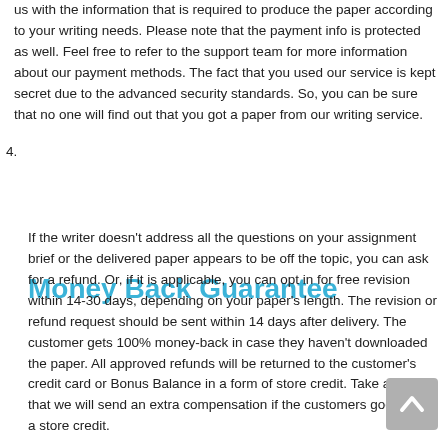us with the information that is required to produce the paper according to your writing needs. Please note that the payment info is protected as well. Feel free to refer to the support team for more information about our payment methods. The fact that you used our service is kept secret due to the advanced security standards. So, you can be sure that no one will find out that you got a paper from our writing service.
4. Money Back Guarantee
If the writer doesn't address all the questions on your assignment brief or the delivered paper appears to be off the topic, you can ask for a refund. Or, if it is applicable, you can opt in for free revision within 14-30 days, depending on your paper's length. The revision or refund request should be sent within 14 days after delivery. The customer gets 100% money-back in case they haven't downloaded the paper. All approved refunds will be returned to the customer's credit card or Bonus Balance in a form of store credit. Take a note that we will send an extra compensation if the customers goes with a store credit.